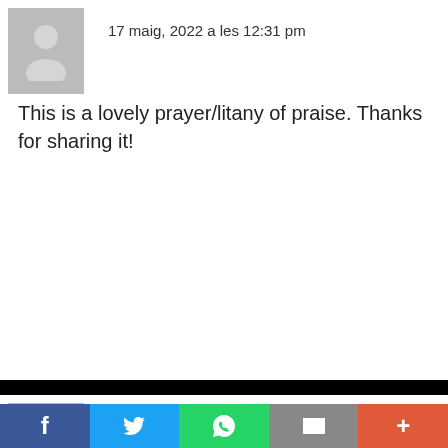17 maig, 2022 a les 12:31 pm
This is a lovely prayer/litany of praise. Thanks for sharing it!
𝗟𝗼𝗿𝗲𝗺𝗶𝗽𝘀𝘂𝗺𝗱𝗶 ha dit:
Respon
19 maig, 2022 a les 10:31 am
I like your topic, Post this same content again please
Este sitio web utilitza cookies para mejorar su experiencia. Si continua navegando, consideramos que Acepta su uso.